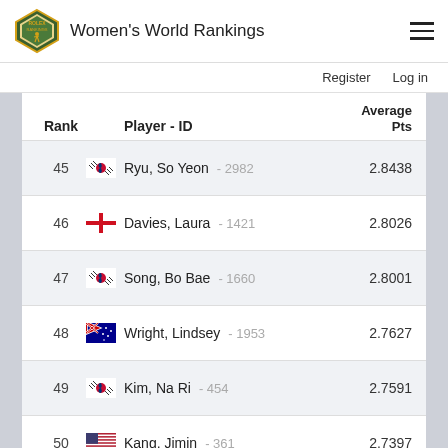Women's World Rankings
Register   Log in
| Rank | Player - ID | Average Pts |
| --- | --- | --- |
| 45 | Ryu, So Yeon - 2982 | 2.8438 |
| 46 | Davies, Laura - 1421 | 2.8026 |
| 47 | Song, Bo Bae - 1660 | 2.8001 |
| 48 | Wright, Lindsey - 1953 | 2.7627 |
| 49 | Kim, Na Ri - 454 | 2.7591 |
| 50 | Kang, Jimin - 361 | 2.7397 |
| 51 | Kim, Christina - 416 | 2.7208 |